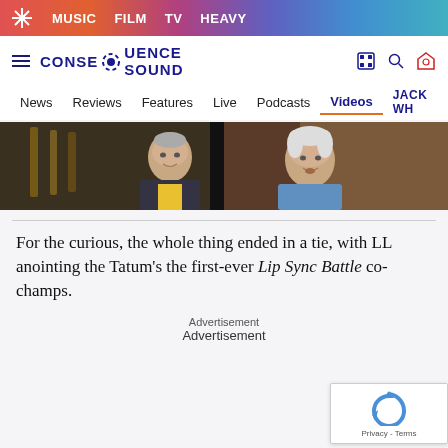MUSIC  FILM  TV  HEAVY
[Figure (logo): Consequence Sound website logo with navigation icons (hamburger menu, film reel, search, tag)]
News  Reviews  Features  Live  Podcasts  Videos  JACK WH
[Figure (photo): Two people in a video call/interview screenshot: left is an older man with short gray hair wearing a plaid shirt over yellow shirt in a room with guitars; right is another older person with white hair wearing a light blue shirt]
For the curious, the whole thing ended in a tie, with LL anointing the Tatum's the first-ever Lip Sync Battle co-champs.
Advertisement
Advertisement